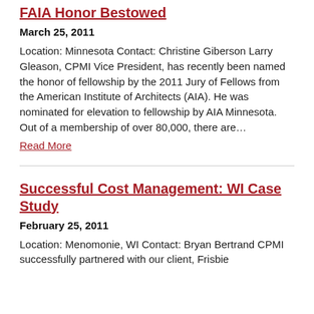FAIA Honor Bestowed
March 25, 2011
Location: Minnesota Contact: Christine Giberson Larry Gleason, CPMI Vice President, has recently been named the honor of fellowship by the 2011 Jury of Fellows from the American Institute of Architects (AIA). He was nominated for elevation to fellowship by AIA Minnesota. Out of a membership of over 80,000, there are…
Read More
Successful Cost Management: WI Case Study
February 25, 2011
Location: Menomonie, WI Contact: Bryan Bertrand CPMI successfully partnered with our client, Frisbie